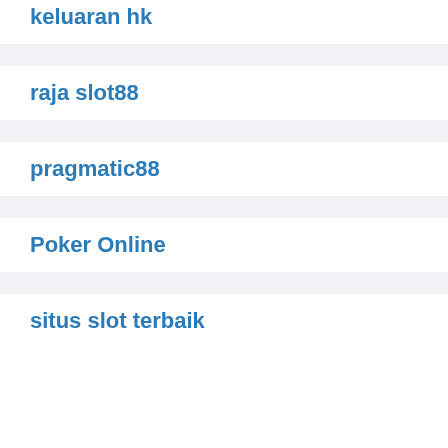keluaran hk
raja slot88
pragmatic88
Poker Online
situs slot terbaik